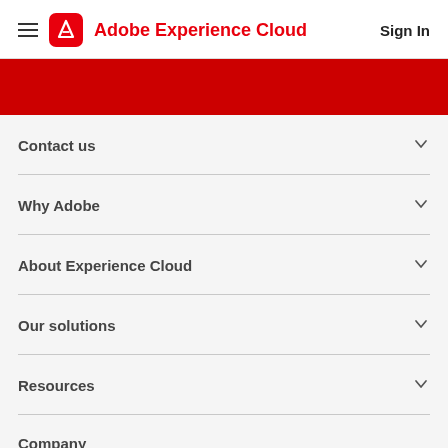Adobe Experience Cloud — Sign In
[Figure (other): Red banner / hero image section]
Contact us
Why Adobe
About Experience Cloud
Our solutions
Resources
Company